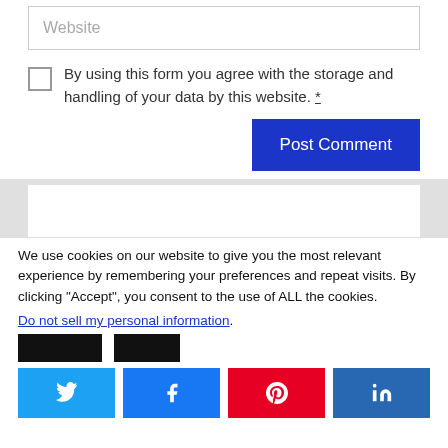Website
By using this form you agree with the storage and handling of your data by this website. *
Post Comment
We use cookies on our website to give you the most relevant experience by remembering your preferences and repeat visits. By clicking "Accept", you consent to the use of ALL the cookies.
Do not sell my personal information.
[Figure (screenshot): Social sharing buttons: Twitter, Facebook, Pinterest, LinkedIn]